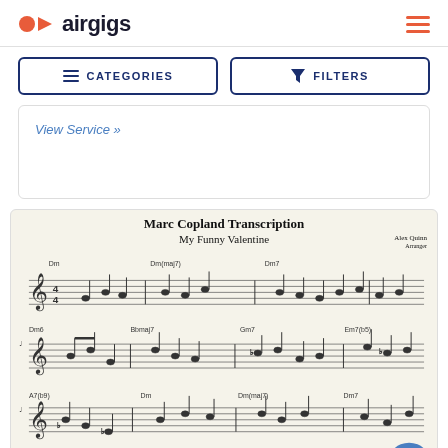airgigs
CATEGORIES   FILTERS
View Service »
[Figure (illustration): Sheet music transcription titled 'Marc Copland Transcription - My Funny Valentine' arranged by Alex Quinn, showing three lines of musical notation with chord symbols (Dm, Dm(maj7), Dm7, Dm6, Bbmaj7, Gm7, Em7(b5), A7(b9), Dm, Dm(maj7), Dm7) on a cream/beige background.]